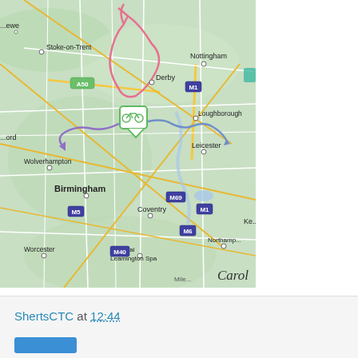[Figure (map): Map of central England showing cycling route near Burton upon Trent. Visible cities include Stoke-on-Trent, Derby, Nottingham, Loughborough, Leicester, Wolverhampton, Birmingham, Coventry, Worcester, Royal Leamington Spa, Northampton. Road markers include A50, M1, M5, M6, M40, M69. A pink traced cycling route is visible near Derby/Burton area, and a purple/blue route extends toward Leicester. A green bicycle map pin is shown near Burton upon Trent.]
Carol
ShertsCTC at 12:44